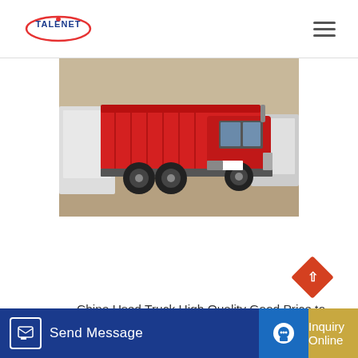TALENET
[Figure (photo): Red Sinotruk HOWO dump truck parked in a yard, side view showing the red cargo bed and cab, with other trucks in the background on a sandy/concrete surface.]
China Used Truck High Quality Good Price to Africa Sinotruk HOWO 6*4 and 8*4 [Tractor T...] [mp Truc...]